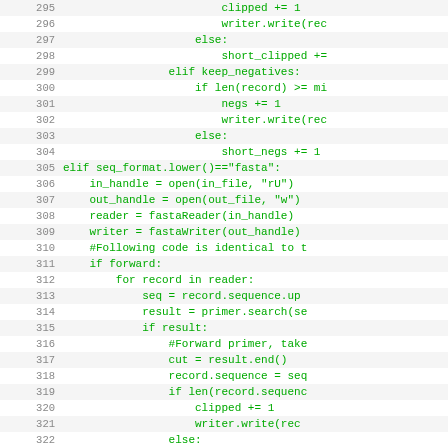[Figure (screenshot): Source code viewer showing Python code lines 295-326. Line numbers on left in gray, code in green monospace font on alternating white/light-gray background. Code shows file processing logic with clipped, short_clipped, negs counters and FASTA format handling.]